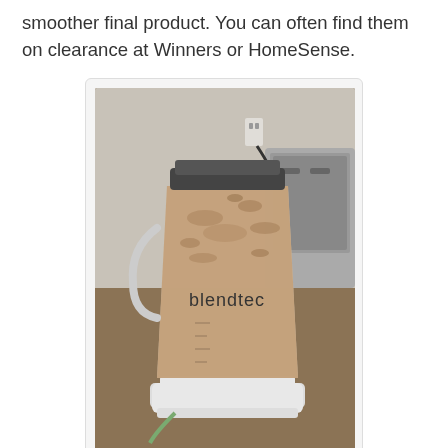smoother final product. You can often find them on clearance at Winners or HomeSense.
[Figure (photo): A Blendtec blender filled with a smoothie mixture, sitting on a countertop next to a toaster.]
You can easily substitute regular peanut butter for the powdered, but it will substantially change the calorie content, if that's a concern to you (2 T of powdered PB has 50 calories, while 2 T of regular PB has 200 calories). If you're looking to bulk up the calorie content, totally go for regular